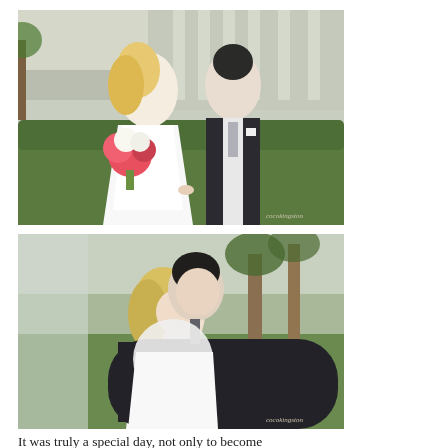[Figure (photo): Wedding photo of a bride in a white strapless gown holding a pink and white bouquet, and a groom in a dark suit with grey tie, holding hands and walking outdoors among greenery and palm trees.]
[Figure (photo): Wedding photo of the groom in a dark suit hugging the bride from behind, both smiling, outdoors with palm trees and greenery in the background.]
It was truly a special day, not only to become